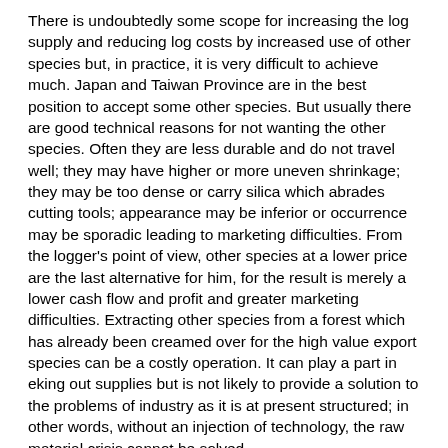There is undoubtedly some scope for increasing the log supply and reducing log costs by increased use of other species but, in practice, it is very difficult to achieve much. Japan and Taiwan Province are in the best position to accept some other species. But usually there are good technical reasons for not wanting the other species. Often they are less durable and do not travel well; they may have higher or more uneven shrinkage; they may be too dense or carry silica which abrades cutting tools; appearance may be inferior or occurrence may be sporadic leading to marketing difficulties. From the logger's point of view, other species at a lower price are the last alternative for him, for the result is merely a lower cash flow and profit and greater marketing difficulties. Extracting other species from a forest which has already been creamed over for the high value export species can be a costly operation. It can play a part in eking out supplies but is not likely to provide a solution to the problems of industry as it is at present structured; in other words, without an injection of technology, the raw material crisis cannot be solved.
A trend in price development, similar to that of hardwoods, although with a slight time lag, has been noted for shipments to Japan of softwood logs from the USSR.
Production of plywood is not about to disappear from...